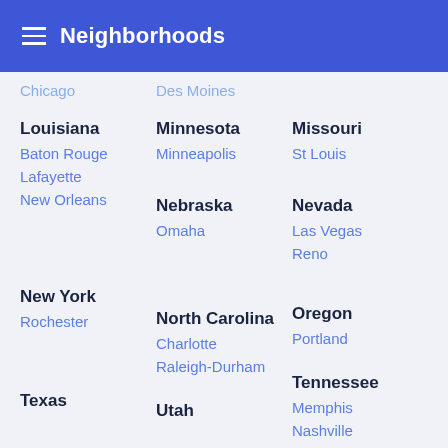Neighborhoods
Chicago
Des Moines
Louisiana
Baton Rouge
Lafayette
New Orleans
Minnesota
Minneapolis
Nebraska
Omaha
Missouri
St Louis
Nevada
Las Vegas
Reno
New York
Rochester
North Carolina
Charlotte
Raleigh-Durham
Oregon
Portland
Tennessee
Memphis
Nashville
Texas
Utah
Washington